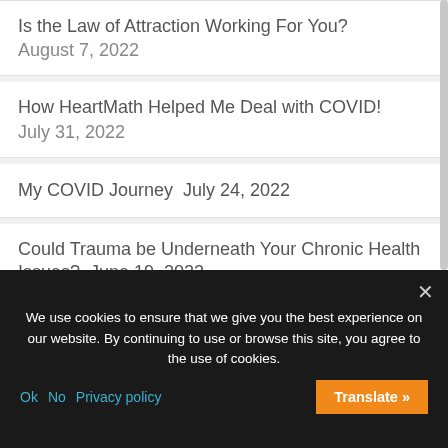Is the Law of Attraction Working For You? August 7, 2022
How HeartMath Helped Me Deal with COVID! July 31, 2022
My COVID Journey July 24, 2022
Could Trauma be Underneath Your Chronic Health Issues? June 19, 2022
Biscotti to Compliment Your Tea or Coffee
We use cookies to ensure that we give you the best experience on our website. By continuing to use or browse this site, you agree to the use of cookies.
Ok   No   Privacy policy   Translate »